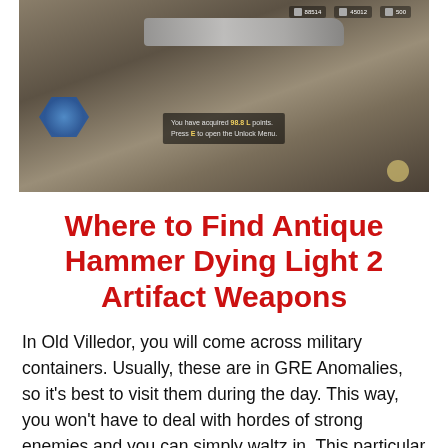[Figure (screenshot): In-game screenshot from Dying Light 2 showing a military container/weapon on a surface, with blue crystals/items in the lower left, a tooltip in the center showing text about GRE points, and a moon icon in the lower right. HUD elements visible at the top right.]
Where to Find Antique Hammer Dying Light 2 Artifact Weapons
In Old Villedor, you will come across military containers. Usually, these are in GRE Anomalies, so it's best to visit them during the day. This way, you won't have to deal with hordes of strong enemies and you can simply waltz in. This particular container is in Trinity, near the border with Horseshoe. The GRE Anomaly in question is C-A-05. When you approach this container, you will see a prompt notifying you that you can unlock it with your GRE Access Key. You don't need to mess around with lockpicking, just click and use it and the door will open.